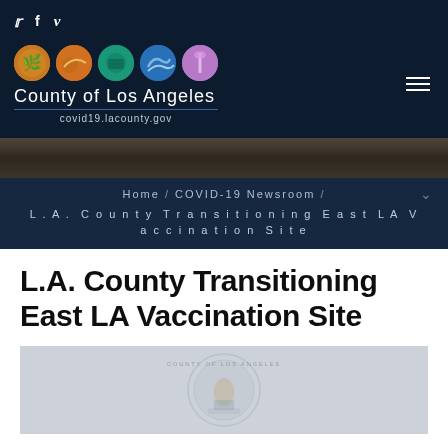[Figure (logo): Social media icons: Twitter (bird), Facebook (f), Vimeo (v) on dark navy background]
[Figure (logo): County of Los Angeles logo with five colored circular icons, county name text, and covid19.lacounty.gov URL]
[Figure (photo): Dark brownish hero banner background image]
Home / COVID-19 Newsroom / L.A. County Transitioning East LA Vaccination Site
L.A. County Transitioning East LA Vaccination Site
[Figure (photo): County of Los Angeles seal/logo watermark on grey background]